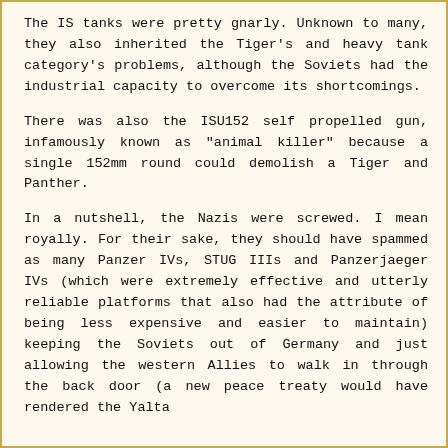The IS tanks were pretty gnarly. Unknown to many, they also inherited the Tiger's and heavy tank category's problems, although the Soviets had the industrial capacity to overcome its shortcomings.
There was also the ISU152 self propelled gun, infamously known as "animal killer" because a single 152mm round could demolish a Tiger and Panther.
In a nutshell, the Nazis were screwed. I mean royally. For their sake, they should have spammed as many Panzer IVs, STUG IIIs and Panzerjaeger IVs (which were extremely effective and utterly reliable platforms that also had the attribute of being less expensive and easier to maintain) keeping the Soviets out of Germany and just allowing the western Allies to walk in through the back door (a new peace treaty would have rendered the Yalta